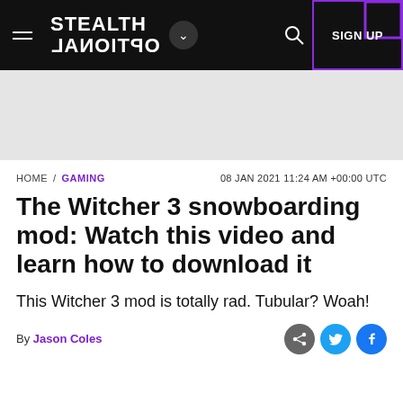STEALTH OPTIONAL — navigation bar with hamburger menu, logo, dropdown, search, and SIGN UP button
[Figure (other): Grey advertisement/banner area]
HOME / GAMING   08 JAN 2021 11:24 AM +00:00 UTC
The Witcher 3 snowboarding mod: Watch this video and learn how to download it
This Witcher 3 mod is totally rad. Tubular? Woah!
By Jason Coles